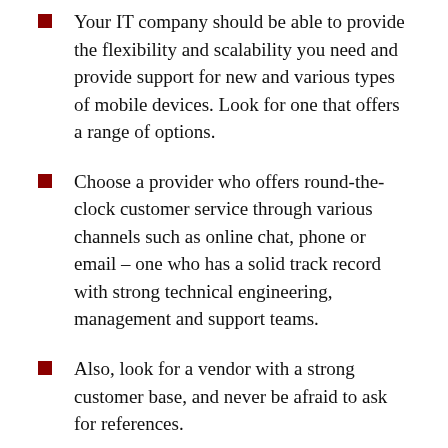Your IT company should be able to provide the flexibility and scalability you need and provide support for new and various types of mobile devices. Look for one that offers a range of options.
Choose a provider who offers round-the-clock customer service through various channels such as online chat, phone or email – one who has a solid track record with strong technical engineering, management and support teams.
Also, look for a vendor with a strong customer base, and never be afraid to ask for references.
(Spade Technology provides all the above.)